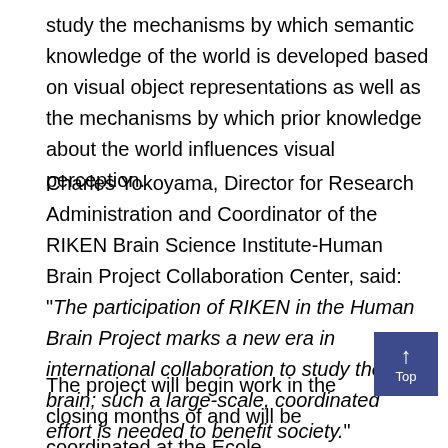study the mechanisms by which semantic knowledge of the world is developed based on visual object representations as well as the mechanisms by which prior knowledge about the world influences visual perception.
Charles Yokoyama, Director for Research Administration and Coordinator of the RIKEN Brain Science Institute-Human Brain Project Collaboration Center, said: "The participation of RIKEN in the Human Brain Project marks a new era in international collaboration to study the brain; such a large-scale, coordinated effort is needed to benefit society."
The project will begin work in the closing months of and will be coordinated at the Ecole Polytechnique Fédérale de Lausanne (EPFL) in Switzerland, by